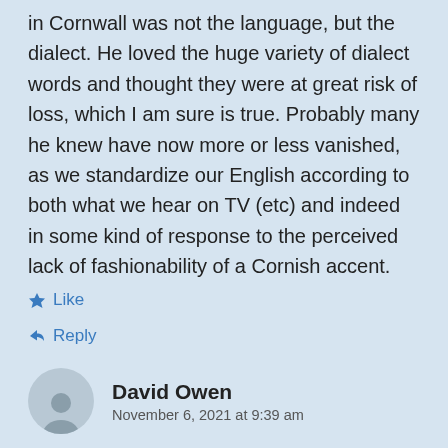in Cornwall was not the language, but the dialect. He loved the huge variety of dialect words and thought they were at great risk of loss, which I am sure is true. Probably many he knew have now more or less vanished, as we standardize our English according to both what we hear on TV (etc) and indeed in some kind of response to the perceived lack of fashionability of a Cornish accent.
Like
Reply
David Owen
November 6, 2021 at 9:39 am